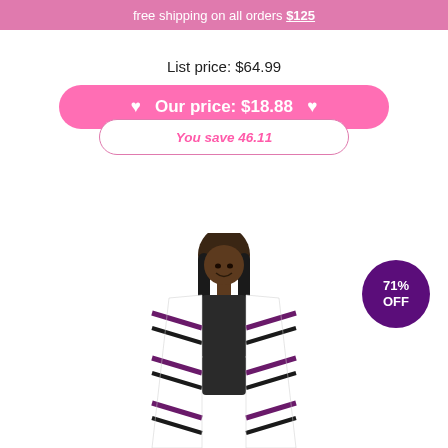free shipping on all orders $125
List price: $64.99
♥  Our price: $18.88  ♥
You save 46.11
[Figure (photo): Woman wearing a chevron-patterned purple, black, and white jacket/cardigan, photographed from waist up against white background]
71% OFF